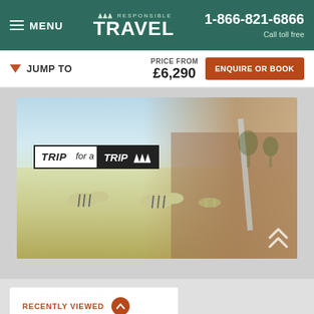MENU | Responsible Travel | 1-866-821-6866 | Call toll free
JUMP TO
PRICE FROM £6,290
ENQUIRE OR BOOK
[Figure (photo): Photo of a smiling African child leaning out of a vehicle window with zebras grazing in the background. Overlaid with 'TRIP for a TRIP' logo badge.]
RECENTLY VIEWED